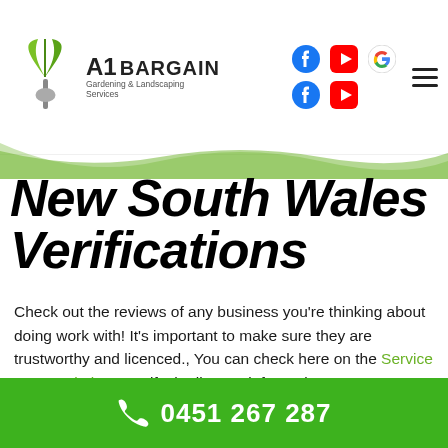[Figure (logo): A1 Bargain Gardening & Landscaping Services logo with green leaf/plant icon]
[Figure (infographic): Social media icons: Facebook (blue), YouTube (red), Google (multi-color G), Facebook (blue), YouTube (red)]
[Figure (other): Hamburger menu icon (three horizontal lines)]
[Figure (other): Decorative green curved banner/strip across the page]
New South Wales Verifications
Check out the reviews of any business you're thinking about doing work with! It's important to make sure they are trustworthy and licenced., You can check here on the Service NSW website to verify the licence information.
0451 267 287